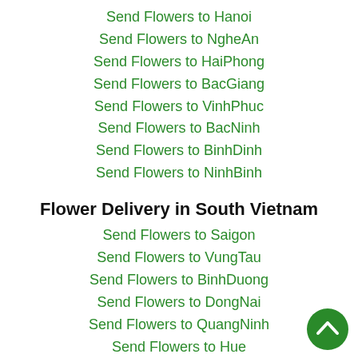Send Flowers to Hanoi
Send Flowers to NgheAn
Send Flowers to HaiPhong
Send Flowers to BacGiang
Send Flowers to VinhPhuc
Send Flowers to BacNinh
Send Flowers to BinhDinh
Send Flowers to NinhBinh
Flower Delivery in South Vietnam
Send Flowers to Saigon
Send Flowers to VungTau
Send Flowers to BinhDuong
Send Flowers to DongNai
Send Flowers to QuangNinh
Send Flowers to Hue
Send Flowers to DaNang
Send Flowers to NhaTrang